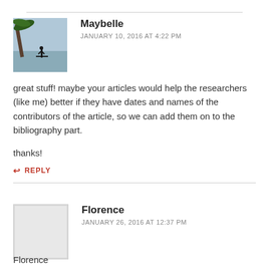Maybelle
JANUARY 10, 2016 AT 4:22 PM
great stuff! maybe your articles would help the researchers (like me) better if they have dates and names of the contributors of the article, so we can add them on to the bibliography part.

thanks!
REPLY
Florence
JANUARY 26, 2016 AT 12:37 PM
Florence
Thank you for the explanation. It is bad for the linear model of